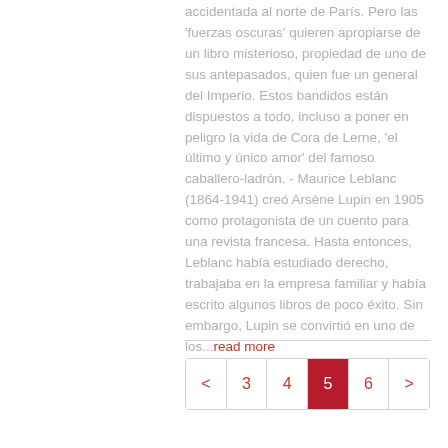accidentada al norte de París. Pero las 'fuerzas oscuras' quieren apropiarse de un libro misterioso, propiedad de uno de sus antepasados, quien fue un general del Imperio. Estos bandidos están dispuestos a todo, incluso a poner en peligro la vida de Cora de Lerne, 'el último y único amor' del famoso caballero-ladrón. - Maurice Leblanc (1864-1941) creó Arsène Lupin en 1905 como protagonista de un cuento para una revista francesa. Hasta entonces, Leblanc había estudiado derecho, trabajaba en la empresa familiar y había escrito algunos libros de poco éxito. Sin embargo, Lupin se convirtió en uno de los...read more
< 3 4 5 6 >